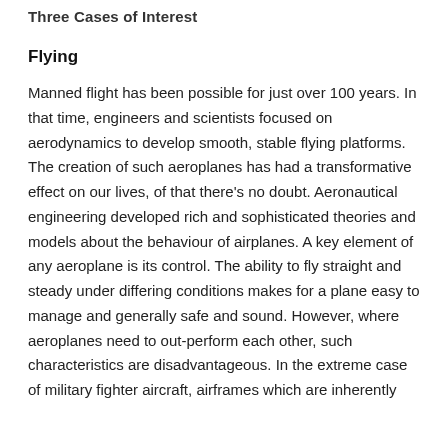Three Cases of Interest
Flying
Manned flight has been possible for just over 100 years. In that time, engineers and scientists focused on aerodynamics to develop smooth, stable flying platforms. The creation of such aeroplanes has had a transformative effect on our lives, of that there's no doubt. Aeronautical engineering developed rich and sophisticated theories and models about the behaviour of airplanes. A key element of any aeroplane is its control. The ability to fly straight and steady under differing conditions makes for a plane easy to manage and generally safe and sound. However, where aeroplanes need to out-perform each other, such characteristics are disadvantageous. In the extreme case of military fighter aircraft, airframes which are inherently